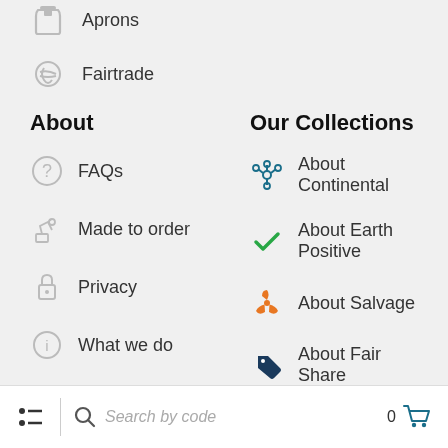Aprons
Fairtrade
About
Our Collections
FAQs
About Continental
Made to order
About Earth Positive
Privacy
About Salvage
What we do
About Fair Share
Fair Wear
Search by code   0